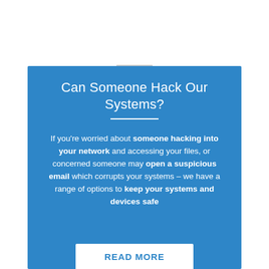Can Someone Hack Our Systems?
If you're worried about someone hacking into your network and accessing your files, or concerned someone may open a suspicious email which corrupts your systems – we have a range of options to keep your systems and devices safe
READ MORE